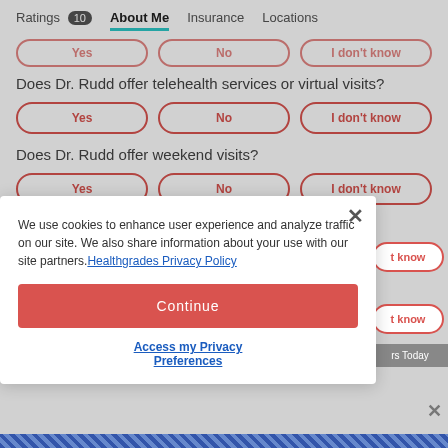Ratings 10  About Me  Insurance  Locations
Yes  No  I don't know
Does Dr. Rudd offer telehealth services or virtual visits?
Yes  No  I don't know
Does Dr. Rudd offer weekend visits?
Yes  No  I don't know
Does Dr. Rudd offer an online patient portal?
We use cookies to enhance user experience and analyze traffic on our site. We also share information about your use with our site partners. Healthgrades Privacy Policy
Continue
Access my Privacy Preferences